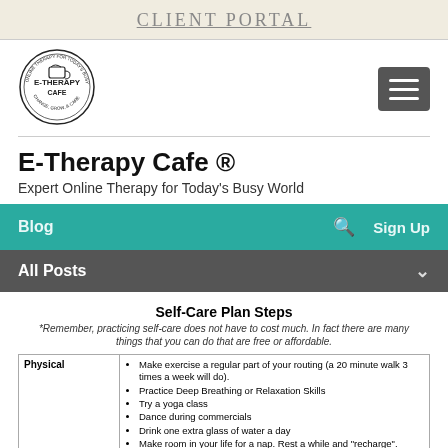CLIENT PORTAL
[Figure (logo): E-Therapy Cafe circular logo with coffee cup illustration]
E-Therapy Cafe ®
Expert Online Therapy for Today's Busy World
Blog
All Posts
Self-Care Plan Steps
*Remember, practicing self-care does not have to cost much. In fact there are many things that you can do that are free or affordable.
|  |  |
| --- | --- |
| Physical | Make exercise a regular part of your routing (a 20 minute walk 3 times a week will do).
Practice Deep Breathing or Relaxation Skills
Try a yoga class
Dance during commercials
Drink one extra glass of water a day
Make room in your life for a nap. Rest a while and "recharge".
Plant a garden
Make my lunch instead of eat fast food
Take a warm bath/shower. Warm water is very soothing and |